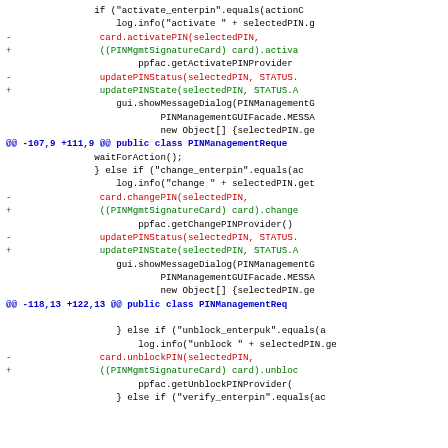[Figure (screenshot): A code diff screenshot showing changes to a Java file involving PINManagementRequest class. Lines show additions (+) in green and removals (-) in red, with hunk headers in blue and context lines in black.]